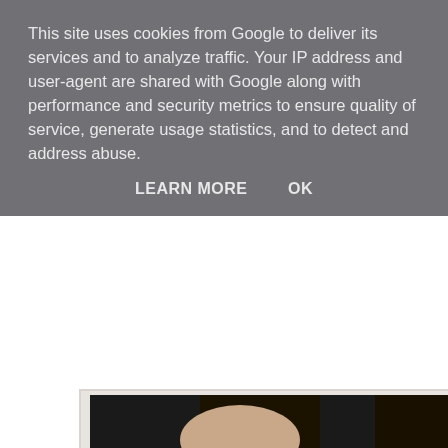This site uses cookies from Google to deliver its services and to analyze traffic. Your IP address and user-agent are shared with Google along with performance and security metrics to ensure quality of service, generate usage statistics, and to detect and address abuse.
LEARN MORE   OK
[Figure (photo): Partial photo of a woman with dark hair wearing a black and white outfit, cropped to show torso and hair.]
Rachel Weisz, who is approaching her 40th birthday in 2010 (unbelievably!), is a beautiful british actress, probably most famous for her roles in The Mummy films. I remember seeing her in the 1997 film Stealing Beauty, starring alongside the also-beautiful Liv Tyler (who will definitely be getting her own feature on the site sometime soon!). Thanks to Gary at fretpoint for suggesting this gorgeous actress.